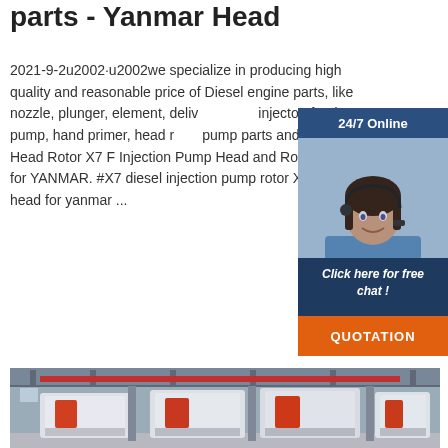parts - Yanmar Head
2021-9-2u2002·u2002we specialize in producing high quality and reasonable price of Diesel engine parts, like nozzle, plunger, element, delivery valve injector, feed pump, hand primer, head rotor pump parts and so on. Head Rotor X7 F Injection Pump Head and Rotor Kit 1299 for YANMAR. #X7 diesel injection pump rotor X7 hydraulic head for yanmar ...
[Figure (illustration): 24/7 Online chat widget with woman in headset, blue background, orange QUOTATION button]
[Figure (photo): Factory floor showing industrial CNC machines with red and white coloring, overhead crane visible]